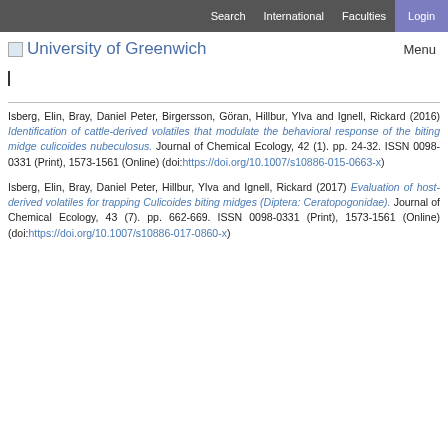Search  International  Faculties  Login
University of Greenwich    Menu
Isberg, Elin, Bray, Daniel Peter, Birgersson, Göran, Hillbur, Ylva and Ignell, Rickard (2016) Identification of cattle-derived volatiles that modulate the behavioral response of the biting midge culicoides nubeculosus. Journal of Chemical Ecology, 42 (1). pp. 24-32. ISSN 0098-0331 (Print), 1573-1561 (Online) (doi:https://doi.org/10.1007/s10886-015-0663-x)
Isberg, Elin, Bray, Daniel Peter, Hillbur, Ylva and Ignell, Rickard (2017) Evaluation of host-derived volatiles for trapping Culicoides biting midges (Diptera: Ceratopogonidae). Journal of Chemical Ecology, 43 (7). pp. 662-669. ISSN 0098-0331 (Print), 1573-1561 (Online) (doi:https://doi.org/10.1007/s10886-017-0860-x)